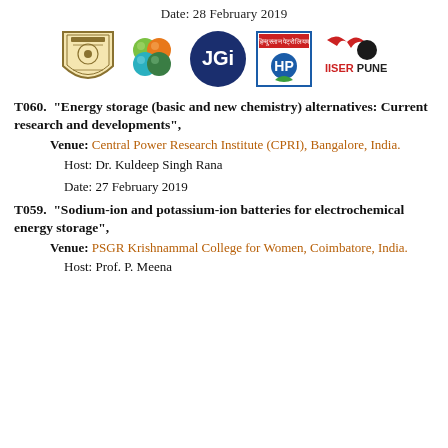Date: 28 February 2019
[Figure (logo): Row of five institutional logos: university crest, JGI group logo, JGI blue circle logo, HP (Hindustan Petroleum) logo, IISER Pune logo]
T060.  "Energy storage (basic and new chemistry) alternatives: Current research and developments",
      Venue: Central Power Research Institute (CPRI), Bangalore, India.
      Host: Dr. Kuldeep Singh Rana
      Date: 27 February 2019
T059.  "Sodium-ion and potassium-ion batteries for electrochemical energy storage",
      Venue: PSGR Krishnammal College for Women, Coimbatore, India.
      Host: Prof. P. Meena